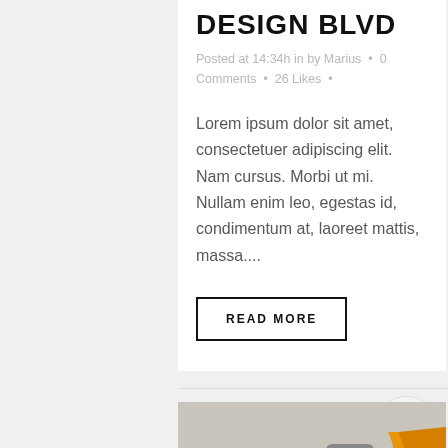DESIGN BLVD
Posted at 14:34h in by Marius • 0 Comments • 26 Likes •
Lorem ipsum dolor sit amet, consectetuer adipiscing elit. Nam cursus. Morbi ut mi. Nullam enim leo, egestas id, condimentum at, laoreet mattis, massa....
READ MORE
[Figure (photo): Flat lay photo of accessories including green headphones, a smartphone, a camera, a grey knit hat, and an orange scarf/strap on a light background]